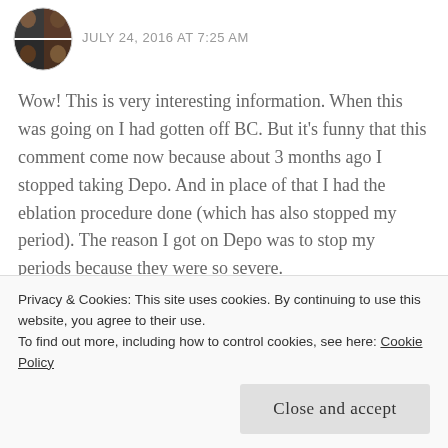[Figure (photo): Two small avatar photos of users, stacked, within a circular frame]
JULY 24, 2016 AT 7:25 AM
Wow! This is very interesting information. When this was going on I had gotten off BC. But it's funny that this comment come now because about 3 months ago I stopped taking Depo. And in place of that I had the eblation procedure done (which has also stopped my period). The reason I got on Depo was to stop my periods because they were so severe.
But now I have gained 11 pounds and I feel horrible about it. So now back to the doc I go to
Privacy & Cookies: This site uses cookies. By continuing to use this website, you agree to their use.
To find out more, including how to control cookies, see here: Cookie Policy
Close and accept